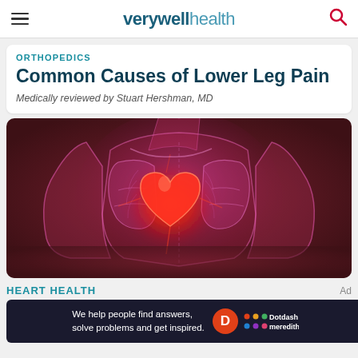verywell health
ORTHOPEDICS
Common Causes of Lower Leg Pain
Medically reviewed by Stuart Hershman, MD
[Figure (illustration): Medical illustration of a human torso (x-ray/transparent style) with a glowing red heart at the center, lungs visible, on a dark reddish-brown background with pink and purple hues.]
HEART HEALTH
We help people find answers, solve problems and get inspired.
Ad — Dotdash meredith